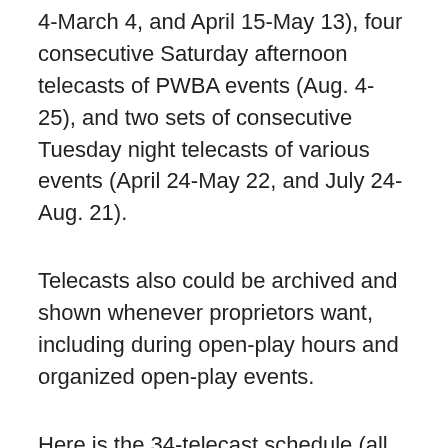4-March 4, and April 15-May 13), four consecutive Saturday afternoon telecasts of PWBA events (Aug. 4-25), and two sets of consecutive Tuesday night telecasts of various events (April 24-May 22, and July 24-Aug. 21).
Telecasts also could be archived and shown whenever proprietors want, including during open-play hours and organized open-play events.
Here is the 34-telecast schedule (all events are pre-recorded except where indicated):
1. Sunday, Dec. 14. Approx. 11 A.m. The World's 50 P...